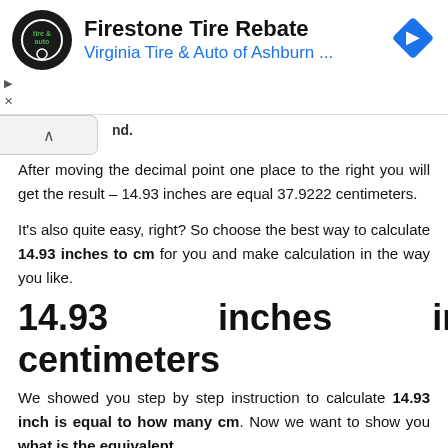[Figure (screenshot): Firestone Tire Rebate advertisement banner with Virginia Tire & Auto of Ashburn logo and blue navigation arrow icon]
After moving the decimal point one place to the right you will get the result – 14.93 inches are equal 37.9222 centimeters.
It's also quite easy, right? So choose the best way to calculate 14.93 inches to cm for you and make calculation in the way you like.
14.93 inches into centimeters
We showed you step by step instruction to calculate 14.93 inch is equal to how many cm. Now we want to show you what is the equivalent